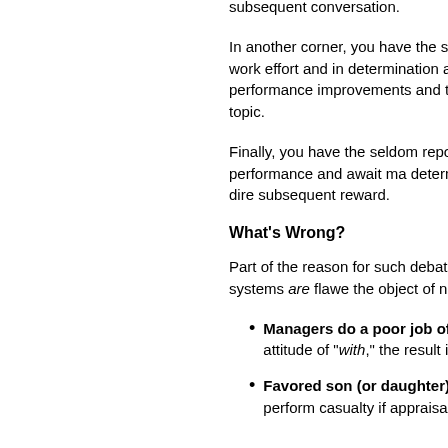subsequent conversation.
In another corner, you have the so-called rewards directly to the work effort and in determination and career counseling step performance improvements and the whe epilog, not the main topic.
Finally, you have the seldom reported en delivered the performance and await ma determination. They expect to see a dire subsequent reward.
What's Wrong?
Part of the reason for such debate betwe performance appraisal systems are flawe the object of numerous well-deserved cri
Managers do a poor job of it: interest or simply an attitude of "with," the result is often rushed,
Favored son (or daughter) tre syndrome, regardless of perform casualty if appraisals are too su issue.